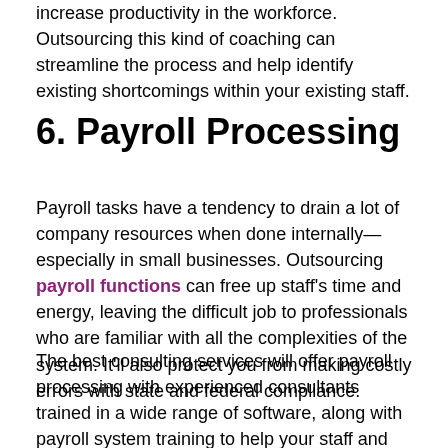increase productivity in the workforce. Outsourcing this kind of coaching can streamline the process and help identify existing shortcomings within your existing staff.
6. Payroll Processing
Payroll tasks have a tendency to drain a lot of company resources when done internally— especially in small businesses. Outsourcing payroll functions can free up staff's time and energy, leaving the difficult job to professionals who are familiar with all the complexities of the system. It'll also protect you from making costly errors with state and federal compliance.
The best consulting services will offer payroll processing with experienced consultants trained in a wide range of software, along with payroll system training to help your staff and frequent payroll audits to provide a comprehensive overview of your current practices.